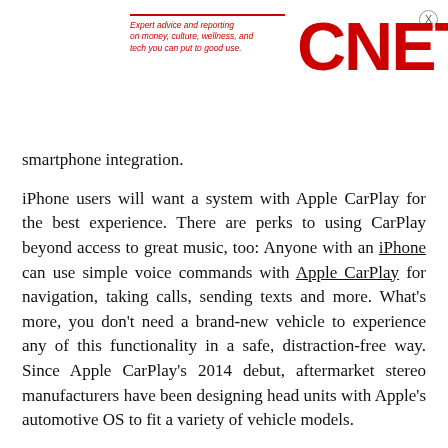[Figure (logo): CNET logo with red text and tagline: Expert advice and reporting on money, culture, wellness, and tech you can put to good use.]
smartphone integration.
iPhone users will want a system with Apple CarPlay for the best experience. There are perks to using CarPlay beyond access to great music, too: Anyone with an iPhone can use simple voice commands with Apple CarPlay for navigation, taking calls, sending texts and more. What's more, you don't need a brand-new vehicle to experience any of this functionality in a safe, distraction-free way. Since Apple CarPlay's 2014 debut, aftermarket stereo manufacturers have been designing head units with Apple's automotive OS to fit a variety of vehicle models.